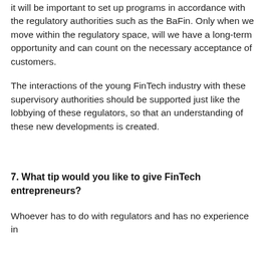it will be important to set up programs in accordance with the regulatory authorities such as the BaFin. Only when we move within the regulatory space, will we have a long-term opportunity and can count on the necessary acceptance of customers.
The interactions of the young FinTech industry with these supervisory authorities should be supported just like the lobbying of these regulators, so that an understanding of these new developments is created.
7. What tip would you like to give FinTech entrepreneurs?
Whoever has to do with regulators and has no experience in